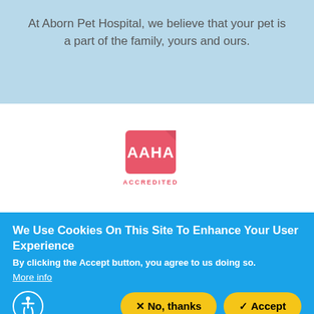At Aborn Pet Hospital, we believe that your pet is a part of the family, yours and ours.
[Figure (logo): AAHA Accredited logo — pink/salmon square with rounded top-right corner containing white letters 'AAHA' and text 'ACCREDITED' below]
We Use Cookies On This Site To Enhance Your User Experience
By clicking the Accept button, you agree to us doing so.
More info
× No, thanks
✓ Accept